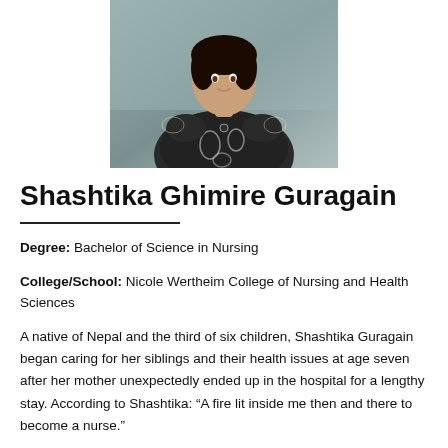[Figure (photo): Portrait photo of Shashtika Ghimire Guragain, a woman wearing a black and white patterned top, shown from waist up against a neutral background.]
Shashtika Ghimire Guragain
Degree: Bachelor of Science in Nursing
College/School: Nicole Wertheim College of Nursing and Health Sciences
A native of Nepal and the third of six children, Shashtika Guragain began caring for her siblings and their health issues at age seven after her mother unexpectedly ended up in the hospital for a lengthy stay. According to Shashtika: “A fire lit inside me then and there to become a nurse.”